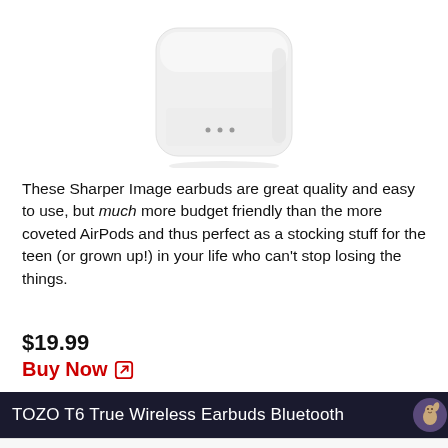[Figure (photo): Sharper Image wireless earbud charging case - white rounded rectangular case with LED dots on front]
These Sharper Image earbuds are great quality and easy to use, but much more budget friendly than the more coveted AirPods and thus perfect as a stocking stuff for the teen (or grown up!) in your life who can't stop losing the things.
$19.99
Buy Now
TOZO T6 True Wireless Earbuds Bluetooth
| Store | Original Price | Availability | Sale Price | Action |
| --- | --- | --- | --- | --- |
| amazon.com Dispatched by Amazon | $32.99 | In Stock | $21.23 | View offer |